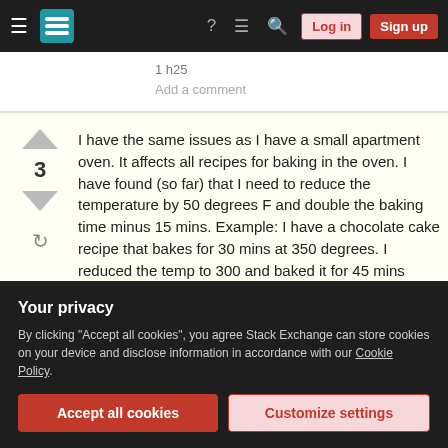≡  [Stack Exchange logo]  ?  ≡  🔍  Log in  Sign up
Add a comment
I have the same issues as I have a small apartment oven. It affects all recipes for baking in the oven. I have found (so far) that I need to reduce the temperature by 50 degrees F and double the baking time minus 15 mins. Example: I have a chocolate cake recipe that bakes for 30 mins at 350 degrees. I reduced the temp to 300 and baked it for 45 mins (double the time = 1 hour and minus 15 mins = 45
Your privacy
By clicking "Accept all cookies", you agree Stack Exchange can store cookies on your device and disclose information in accordance with our Cookie Policy.
Accept all cookies    Customize settings
answered Dec 13, 2015 at 19:54